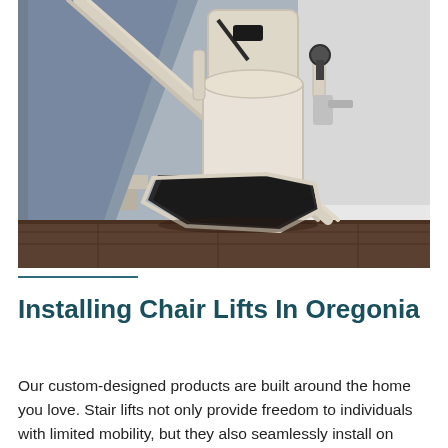[Figure (photo): A stair lift (chair lift) installed on a staircase in a home. The lift features a beige/cream colored seat with armrests, a black footrest platform at the bottom, and is mounted on a rail along the staircase wall. The surrounding environment shows wooden stair treads, gray carpet on stairs, white walls, and dark hardwood flooring at the base.]
Installing Chair Lifts In Oregonia
Our custom-designed products are built around the home you love. Stair lifts not only provide freedom to individuals with limited mobility, but they also seamlessly install on